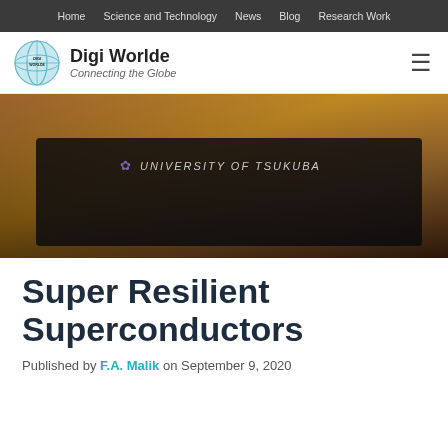Home   Science and Technology   News   Blog   Research Work
[Figure (logo): Digi Worlde globe logo with text 'Digi Worlde' and tagline 'Connecting the Globe']
[Figure (photo): Dark banner image with text 'UNIVERSITY OF TSUKUBA' and 'SUPER RESILIENT SUPERCONDUCTOR RESEARCH' in bold white letters on a dark background, with a small purple flower/crest icon]
Super Resilient Superconductors
Published by F.A. Malik on September 9, 2020